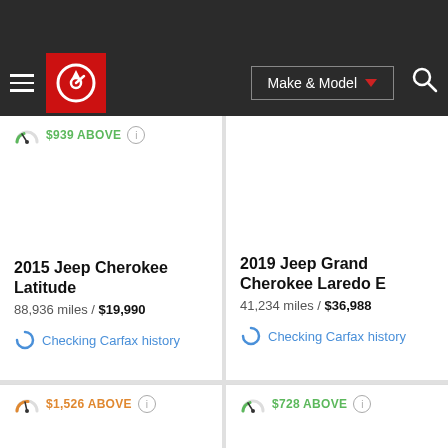CarGurus - Make & Model search interface
$939 ABOVE
2015 Jeep Cherokee Latitude
88,936 miles / $19,990
Checking Carfax history
2019 Jeep Grand Cherokee Laredo E
41,234 miles / $36,988
Checking Carfax history
$1,526 ABOVE
$728 ABOVE